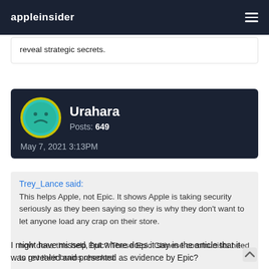appleinsider
reveal strategic secrets.
Urahara
Posts: 649
May 7, 2021 3:13PM
Trey_Lance said:
This helps Apple, not Epic. It shows Apple is taking security seriously as they been saying so they is why they don't want to let anyone load any crap on their store.

how does this help Epic? These Epic Chinese communists need to get their brains checked
I might have missed, but where does it say in the article that it was revealed and presented as evidence by Epic?